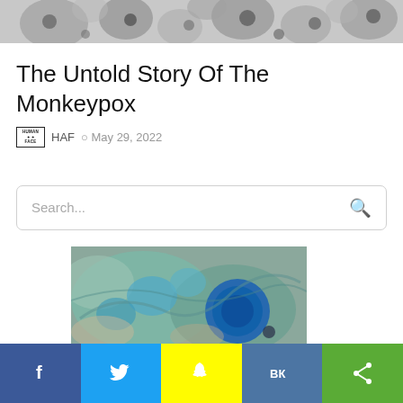[Figure (photo): Grayscale electron microscope image of monkeypox virus particles]
The Untold Story Of The Monkeypox
HAF  May 29, 2022
[Figure (other): Search bar UI element]
[Figure (photo): Colorized microscope image of monkeypox virus, teal and blue tones]
[Figure (infographic): Social media sharing bar with Facebook, Twitter, Snapchat, VK, and share buttons]